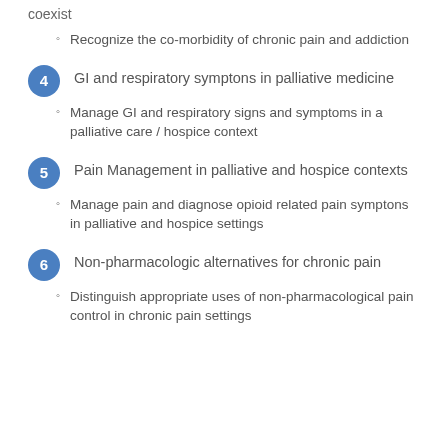coexist
Recognize the co-morbidity of chronic pain and addiction
4 GI and respiratory symptons in palliative medicine
Manage GI and respiratory signs and symptoms in a palliative care / hospice context
5 Pain Management in palliative and hospice contexts
Manage pain and diagnose opioid related pain symptons in palliative and hospice settings
6 Non-pharmacologic alternatives for chronic pain
Distinguish appropriate uses of non-pharmacological pain control in chronic pain settings